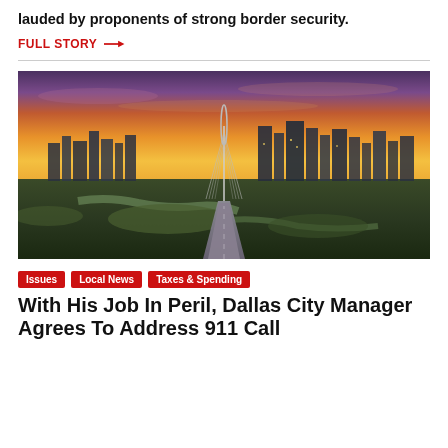lauded by proponents of strong border security.
FULL STORY →
[Figure (photo): Aerial sunset photo of Dallas, Texas skyline with a cable-stayed bridge in the foreground and vibrant orange and purple sky]
Issues
Local News
Taxes & Spending
With His Job In Peril, Dallas City Manager Agrees To Address 911 Call Center Wait Times Permitting D...